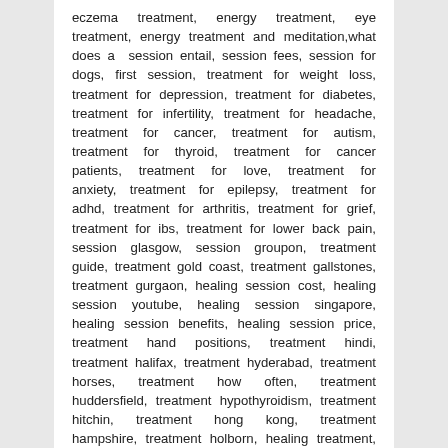eczema treatment, energy treatment, eye treatment, energy treatment and meditation,what does a session entail, session fees, session for dogs, first session, treatment for weight loss, treatment for depression, treatment for diabetes, treatment for infertility, treatment for headache, treatment for cancer, treatment for autism, treatment for thyroid, treatment for cancer patients, treatment for love, treatment for anxiety, treatment for epilepsy, treatment for adhd, treatment for arthritis, treatment for grief, treatment for ibs, treatment for lower back pain, session glasgow, session groupon, treatment guide, treatment gold coast, treatment gallstones, treatment gurgaon, healing session cost, healing session youtube, healing session singapore, healing session benefits, healing session price, treatment hand positions, treatment hindi, treatment halifax, treatment hyderabad, treatment horses, treatment how often, treatment huddersfield, treatment hypothyroidism, treatment hitchin, treatment hong kong, treatment hampshire, treatment holborn, healing treatment, healing treatment process, session images, session in ct, session in progress, treatment in hindi, treatment in urdu, treatment in bangalore, treatment in kolkata, treatment in tamil, treatment in pune, treatment in mumbai, treatment in karachi, treatment in islam, treatment in chennai,